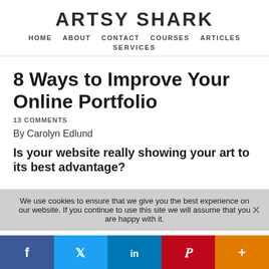ARTSY SHARK
HOME   ABOUT   CONTACT   COURSES   ARTICLES
SERVICES
8 Ways to Improve Your Online Portfolio
13 COMMENTS
By Carolyn Edlund
Is your website really showing your art to its best advantage?
We use cookies to ensure that we give you the best experience on our website. If you continue to use this site we will assume that you are happy with it.